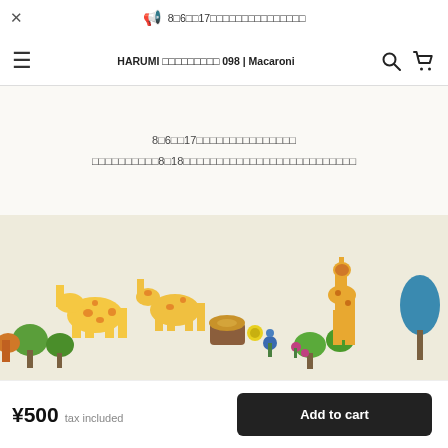✕  📢 8□6□□17□□□□□□□□□□□□□□□□□
HARUMI □□□□□□□□□ 098 | Macaroni
8□6□□17□□□□□□□□□□□□□□□□□
□□□□□□□□□□8□18□□□□□□□□□□□□□□□□□□□□□□□□□□□
[Figure (photo): Product photo of a fabric item with colorful cartoon giraffe and animal print pattern on a light beige/natural linen background]
¥500  tax included
Add to cart